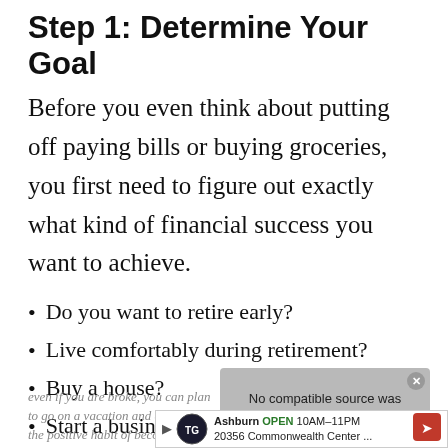Step 1: Determine Your Goal
Before you even think about putting off paying bills or buying groceries, you first need to figure out exactly what kind of financial success you want to achieve.
Do you want to retire early?
Live comfortably during retirement?
Buy a house?
Start a business?